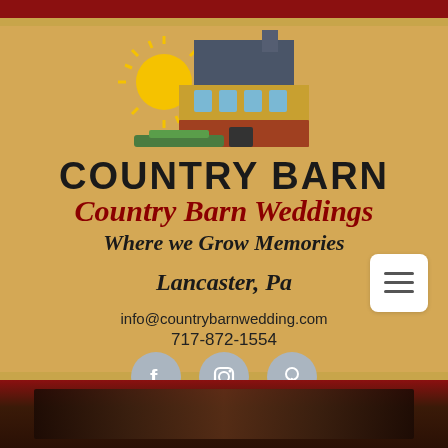[Figure (logo): Country Barn Weddings logo with illustrated barn, yellow sun, green fields, dark roof, and brick facade]
COUNTRY BARN
Country Barn Weddings
Where we Grow Memories
Lancaster, Pa
info@countrybarnwedding.com
717-872-1554
[Figure (illustration): Social media icons: Facebook, Instagram, Pinterest in grey circles]
[Figure (photo): Bottom strip showing a dark wedding/barn venue photo]